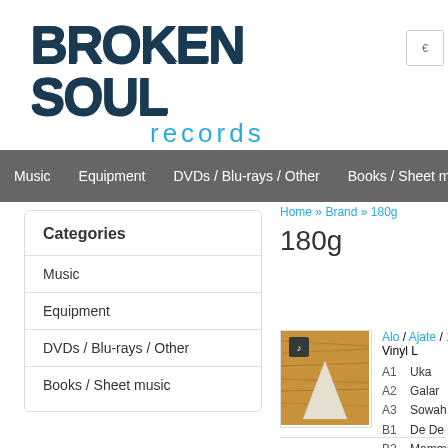[Figure (logo): Broken Soul Records logo with distressed dark text and blue 'records' subtitle]
Music | Equipment | DVDs / Blu-rays / Other | Books / Sheet music
Categories
Music
Equipment
DVDs / Blu-rays / Other
Books / Sheet music
Home » Brand » 180g
180g
[Figure (photo): Album cover thumbnail: Alo / Ajate - shows a wood-textured abstract image with a white conical shape]
Alo / Ajate / 180g / Vinyl L
A1  Uka
A2  Galar
A3  Sowah
B1  De De
B2  Mammamelie
B3  Nchakara